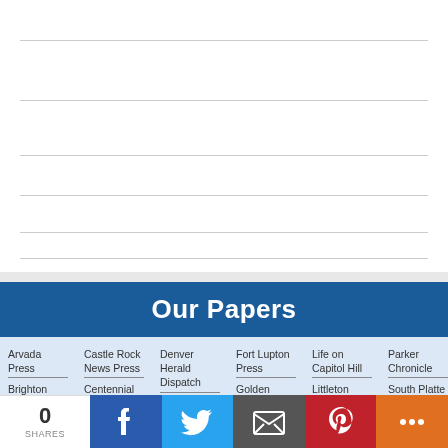[Figure (other): Lined white notepad area with horizontal grey lines]
Our Papers
Arvada Press  Castle Rock News Press  Denver Herald Dispatch  Fort Lupton Press  Life on Capitol Hill  Parker Chronicle  Brighton Standard  Centennial  Golden  Littleton  South Platte
0 SHARES | Facebook | Twitter | Email | Pinterest | More